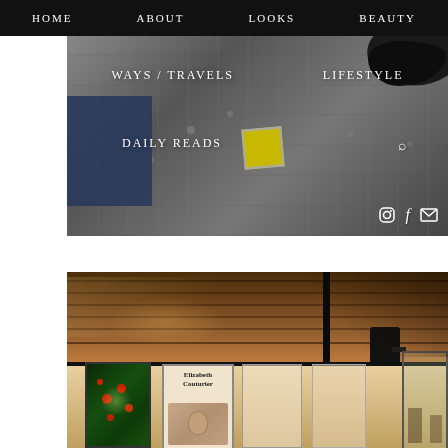HOME  ABOUT  LOOKS  BEAUTY
[Figure (photo): Website navigation overlay on street cobblestone photo with shoe visible in upper right corner. Menu items: WAYS / TRAVELS, LIFESTYLE, DAILY READS. Social icons (Instagram, Facebook, email) at bottom right.]
[Figure (photo): Interior of a gallery or bookshop with warm wooden ceiling, black speaker and pole, paintings and posters on wall including a green painting with red flowers and an 'Elizabeth Couturier' book/poster, glass display case on right.]